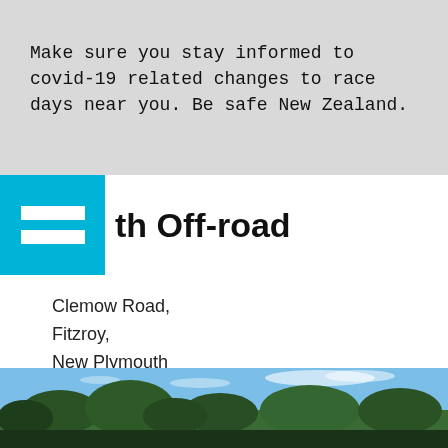Make sure you stay informed to covid-19 related changes to race days near you. Be safe New Zealand.
th Off-road
Clemow Road,
Fitzroy,
New Plymouth
OUTDOORS
OFF-ROAD
ELECTRIC
[Figure (photo): Outdoor off-road race location showing trees and blue sky with clouds, Clemow Road, Fitzroy, New Plymouth]